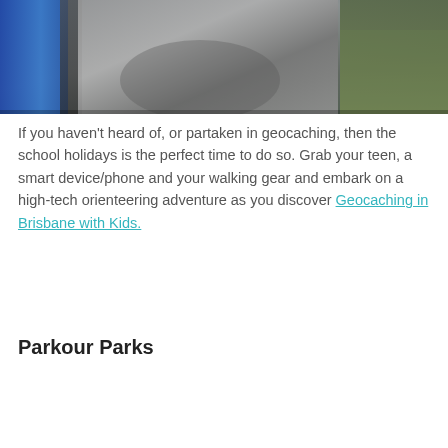[Figure (photo): Overhead view of a person sitting cross-legged outdoors with a blue and gray backpack, wearing gray clothing, on green grass.]
If you haven't heard of, or partaken in geocaching, then the school holidays is the perfect time to do so. Grab your teen, a smart device/phone and your walking gear and embark on a high-tech orienteering adventure as you discover Geocaching in Brisbane with Kids.
Parkour Parks